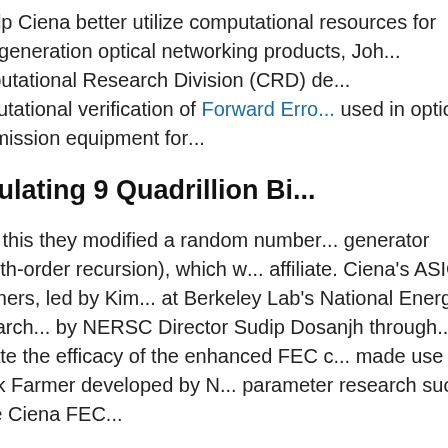To help Ciena better utilize computational resources for next-generation optical networking products, Johns Hopkins University's Computational Research Division (CRD) developed a method for computational verification of Forward Error Correction (FEC) algorithms used in optical transmission equipment for...
Simulating 9 Quadrillion Bi...
To do this they modified a random number generator (a Mersenne Twister generator with 8th-order recursion), which was developed by a Berkeley Lab affiliate. Ciena's ASIC designers, led by Kim..., ran the simulations at Berkeley Lab's National Energy Research... by NERSC Director Sudip Dosanjh through... validate the efficacy of the enhanced FEC ... made use of a Task Farmer developed by N... parameter research such as the Ciena FEC...
To show the benefits of this technology, the... a noisy environment, where the channel im... be received in error, explained Masoud Ebr...
"Our FEC mechanism corrected all the 500... below 10^-16," Ebrahimi said.
"Without custom ASICs to perform the calc...